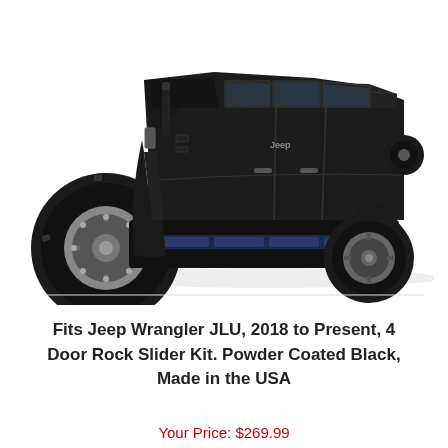[Figure (photo): Black Jeep Wrangler JLU 4-door SUV shown from the side-front angle on a white background, displaying rock slider/side step bars mounted under the vehicle doors. The Jeep badge is visible on the side.]
Fits Jeep Wrangler JLU, 2018 to Present, 4 Door Rock Slider Kit. Powder Coated Black, Made in the USA
Your Price: $269.99